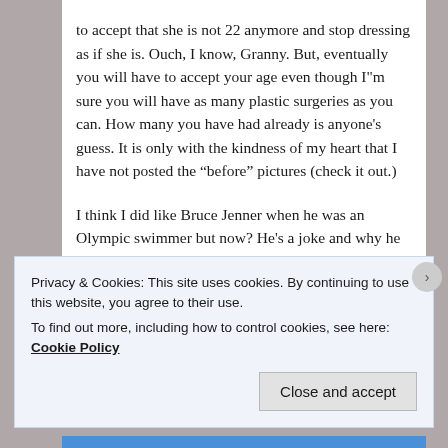to accept that she is not 22 anymore and stop dressing as if she is. Ouch, I know, Granny. But, eventually you will have to accept your age even though I"m sure you will have as many plastic surgeries as you can. How many you have had already is anyone's guess. It is only with the kindness of my heart that I have not posted the “before” pictures (check it out.)

I think I did like Bruce Jenner when he was an Olympic swimmer but now? He's a joke and why he is letting himself become
Privacy & Cookies: This site uses cookies. By continuing to use this website, you agree to their use.
To find out more, including how to control cookies, see here: Cookie Policy